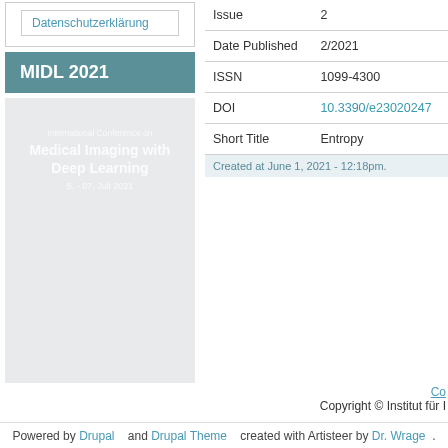Datenschutzerklärung
MIDL 2021
[Figure (illustration): Conference image for International Conference on Medical Imaging with Deep Learning, 5. - 07. Jul 2021, showing text overlay on grey background]
| Field | Value |
| --- | --- |
| Issue | 2 |
| Date Published | 2/2021 |
| ISSN | 1099-4300 |
| DOI | 10.3390/e23020247 |
| Short Title | Entropy |
Created at June 1, 2021 - 12:18pm.
Co
Copyright © Institut für I
Powered by Drupal    and Drupal Theme    created with Artisteer by Dr. Wrage   .